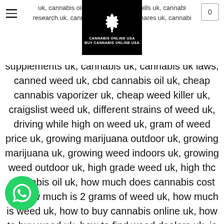Cannabis Online USA — Buy Cannabis Online USA
uk, cannabis oil vape, cannabis pills uk, cannabis research uk, cannabis sa... cannabis shares uk, cannabis supplements uk, cannabis uk, cannabis uk laws, canned weed uk, cbd cannabis oil uk, cheap cannabis vaporizer uk, cheap weed killer uk, craigslist weed uk, different strains of weed uk, driving while high on weed uk, gram of weed price uk, growing marijuana outdoor uk, growing marijuana uk, growing weed indoors uk, growing weed outdoor uk, high grade weed uk, high thc cannabis oil uk, how much does cannabis cost uk, how much is 2 grams of weed uk, how much is weed uk, how to buy cannabis online uk, how to buy weed uk, how to find weed dealers uk, is cannabis legal in uk, Is marijuana legal in uk, is weed legal in the uk, is weed legal in uk, legal cannabis in uk, legalisation of marijuana uk, legalize marijuana uk petition, legalize weed in uk, marijuana anonymous uk, marijuana buy online uk, marijuana for sale online uk, marijuana for sale uk, marijuana news uk, marijuana oil for sale uk, marijuana oil uk, marijuana